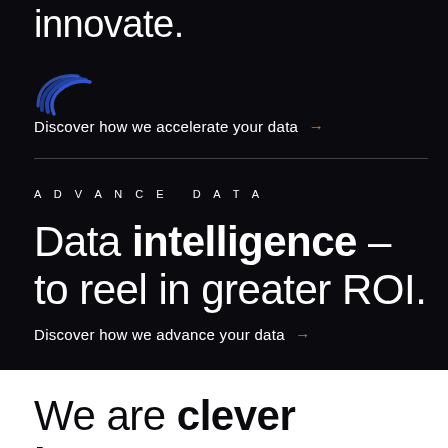innovate.
[Figure (logo): Stylized blue spiral/concentric-arcs logo mark]
Discover how we accelerate your data →
ADVANCE DATA
Data intelligence – to reel in greater ROI.
Discover how we advance your data →
We are clever humans